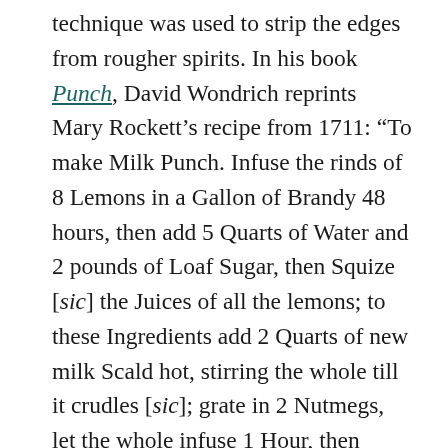technique was used to strip the edges from rougher spirits. In his book Punch, David Wondrich reprints Mary Rockett’s recipe from 1711: “To make Milk Punch. Infuse the rinds of 8 Lemons in a Gallon of Brandy 48 hours, then add 5 Quarts of Water and 2 pounds of Loaf Sugar, then Squize [sic] the Juices of all the lemons; to these Ingredients add 2 Quarts of new milk Scald hot, stirring the whole till it crudles [sic]; grate in 2 Nutmegs, let the whole infuse 1 Hour, then refine through a flannel Bag.”
While it might not be quite mainstream yet,